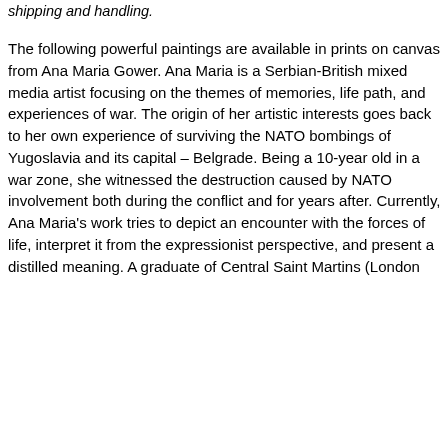shipping and handling.
The following powerful paintings are available in prints on canvas from Ana Maria Gower. Ana Maria is a Serbian-British mixed media artist focusing on the themes of memories, life path, and experiences of war. The origin of her artistic interests goes back to her own experience of surviving the NATO bombings of Yugoslavia and its capital – Belgrade. Being a 10-year old in a war zone, she witnessed the destruction caused by NATO involvement both during the conflict and for years after. Currently, Ana Maria's work tries to depict an encounter with the forces of life, interpret it from the expressionist perspective, and present a distilled meaning. A graduate of Central Saint Martins (London